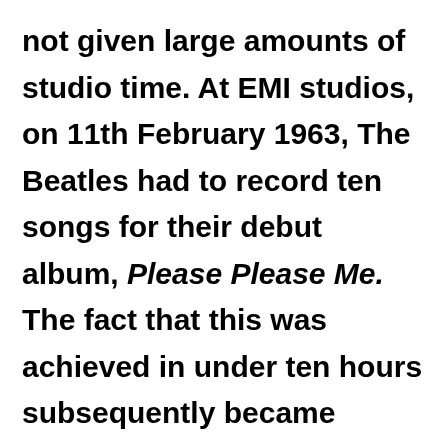not given large amounts of studio time. At EMI studios, on 11th February 1963, The Beatles had to record ten songs for their debut album, Please Please Me. The fact that this was achieved in under ten hours subsequently became regarded as a remarkable achievement. This was seen as especially true when the quality of the tracks was considered. It was common